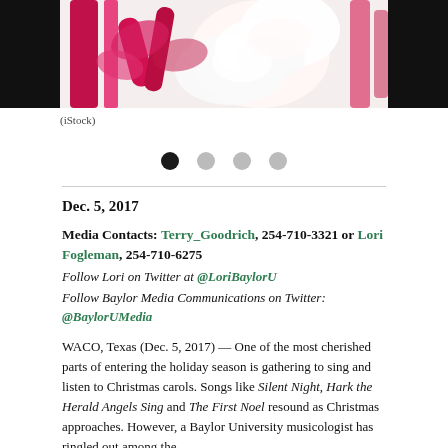[Figure (photo): Close-up photo of pink/crimson and white fabric flowers or ribbon roses on a white background, flanked by black bars on left and right.]
(iStock)
Dec. 5, 2017
Media Contacts: Terry_Goodrich, 254-710-3321 or Lori Fogleman, 254-710-6275
Follow Lori on Twitter at @LoriBaylorU
Follow Baylor Media Communications on Twitter: @BaylorUMedia
WACO, Texas (Dec. 5, 2017) — One of the most cherished parts of entering the holiday season is gathering to sing and listen to Christmas carols. Songs like Silent Night, Hark the Herald Angels Sing and The First Noel resound as Christmas approaches. However, a Baylor University musicologist has ringled out among the